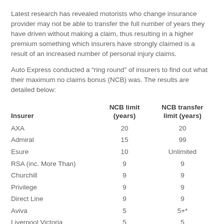Latest research has revealed motorists who change insurance provider may not be able to transfer the full number of years they have driven without making a claim, thus resulting in a higher premium something which insurers have strongly claimed is a result of an increased number of personal injury claims.
Auto Express conducted a “ring round” of insurers to find out what their maximum no claims bonus (NCB) was. The results are detailed below:
| Insurer | NCB limit (years) | NCB transfer limit (years) |
| --- | --- | --- |
| AXA | 20 | 20 |
| Admiral | 15 | 99 |
| Esure | 10 | Unlimited |
| RSA (inc. More Than) | 9 | 9 |
| Churchill | 9 | 9 |
| Privilege | 9 | 9 |
| Direct Line | 9 | 9 |
| Aviva | 5 | 5+* |
| Liverpool Victoria | 5 | 5 |